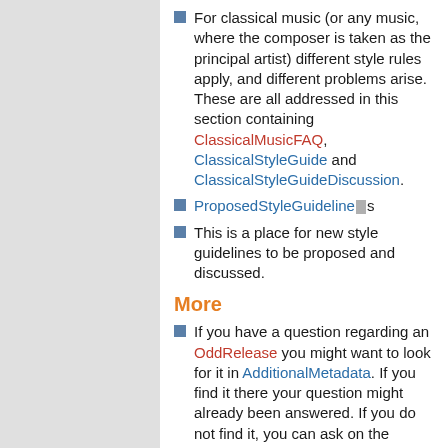For classical music (or any music, where the composer is taken as the principal artist) different style rules apply, and different problems arise. These are all addressed in this section containing ClassicalMusicFAQ, ClassicalStyleGuide and ClassicalStyleGuideDiscussion.
ProposedStyleGuidelines
This is a place for new style guidelines to be proposed and discussed.
More
If you have a question regarding an OddRelease you might want to look for it in AdditionalMetadata. If you find it there your question might already been answered. If you do not find it, you can ask on the UsersMailingList. When your problem has been solved, please list your solution there to help